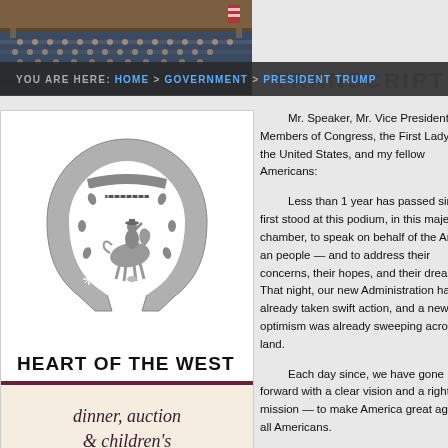[Figure (photo): Congressional chamber photo showing audience seated in rows, taken from above/behind the chamber]
YOU ARE HERE: HOME > GOVERNMENT > PRESIDENT TRUMP
[Figure (logo): Carousel Ranch horseshoe logo with rider silhouette inside]
HEART OF THE WEST
dinner, auction & children's
Mr. Speaker, Mr. Vice President, Members of Congress, the First Lady of the United States, and my fellow Americans:
Less than 1 year has passed since I first stood at this podium, in this majestic chamber, to speak on behalf of the American people — and to address their concerns, their hopes, and their dreams. That night, our new Administration had already taken swift action, and a new optimism was already sweeping across our land.
Each day since, we have gone forward with a clear vision and a righteous mission — to make America great again for all Americans.
Over the last year, we have made incredible progress and achieved extraordinary success. We have faced challenges we expected, and others we could never have imagined. We have shared in the heights of victory with our allies, and we have remembered the faces of the storms. But through it all, we have never lost sight of the values that will always be America's spine.
Each test has forged new American heroes to remind us who we are, and show us what we can be.